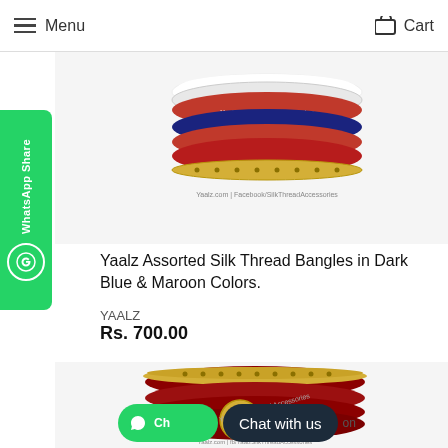Menu   Cart
[Figure (photo): Photo of assorted silk thread bangles in dark blue and maroon colors stacked together with gold accents, watermarked with Yaalz branding]
Yaalz Assorted Silk Thread Bangles in Dark Blue & Maroon Colors.
YAALZ
Rs. 700.00
[Figure (photo): Close-up photo of maroon silk thread bangles with gold beaded trim and decorative gold medallion embellishment, watermarked with Yaalz Silk Thread Accessories]
Chat with us